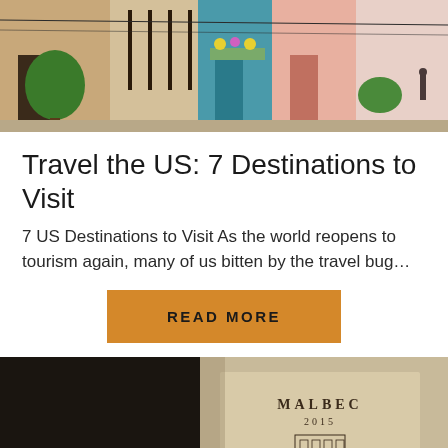[Figure (photo): Colorful row houses along a narrow street with flower boxes and greenery]
Travel the US: 7 Destinations to Visit
7 US Destinations to Visit As the world reopens to tourism again, many of us bitten by the travel bug…
READ MORE
[Figure (photo): Close-up of a Malbec 2015 wine bottle label with winery logo]